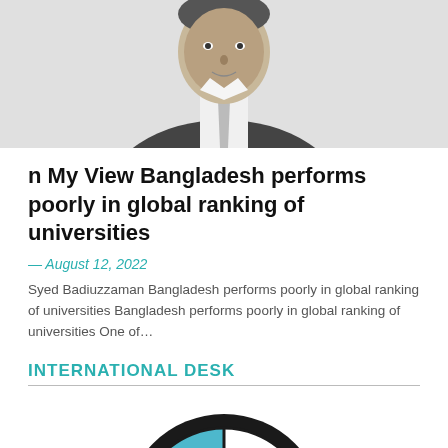[Figure (photo): Grayscale portrait photo of a man in a suit and tie, visible from chest up, cropped at top]
n My View Bangladesh performs poorly in global ranking of universities
— August 12, 2022
Syed Badiuzzaman Bangladesh performs poorly in global ranking of universities Bangladesh performs poorly in global ranking of universities One of…
INTERNATIONAL DESK
[Figure (logo): BMW circular logo, partially visible at bottom of page, showing B, M, W letters with blue and white quadrants and black outer ring]